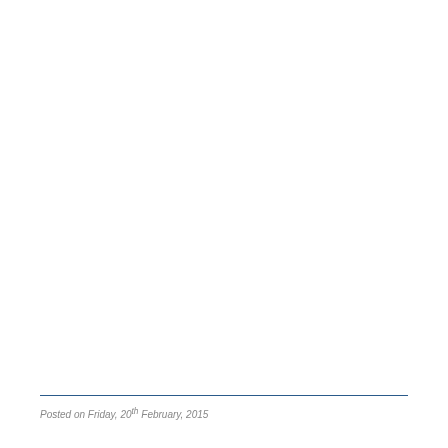Posted on Friday, 20th February, 2015